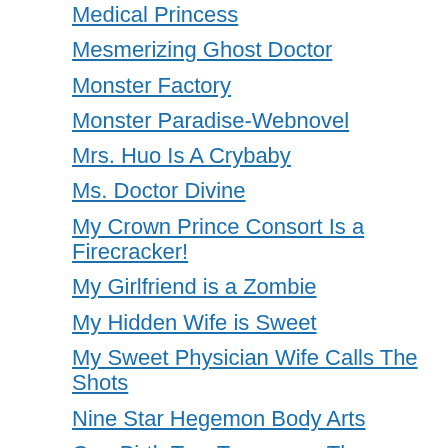Medical Princess
Mesmerizing Ghost Doctor
Monster Factory
Monster Paradise-Webnovel
Mrs. Huo Is A Crybaby
Ms. Doctor Divine
My Crown Prince Consort Is a Firecracker!
My Girlfriend is a Zombie
My Hidden Wife is Sweet
My Sweet Physician Wife Calls The Shots
Nine Star Hegemon Body Arts
One Birth Two Treasures: The Billionaire's Sweet Love
Oukoku e Tsuzuku Michi